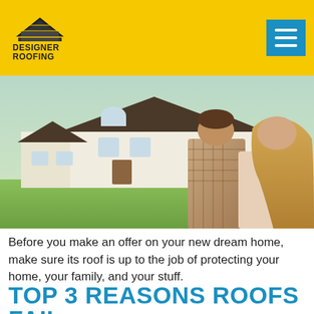Designer Roofing
[Figure (photo): A couple viewed from behind, arms around each other, looking at a large white two-story house with dark roof across a green field.]
Before you make an offer on your new dream home, make sure its roof is up to the job of protecting your home, your family, and your stuff.
TOP 3 REASONS ROOFS FAIL